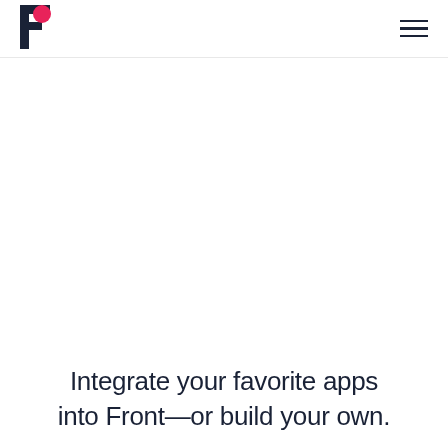[Figure (logo): Front app logo — dark navy letter F with a pink circle accent, top-left corner]
Integrate your favorite apps into Front—or build your own.